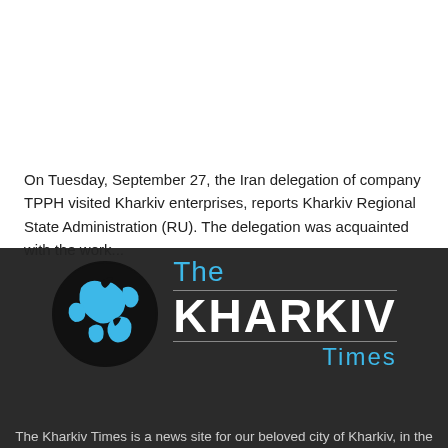On Tuesday, September 27, the Iran delegation of company TPPH visited Kharkiv enterprises, reports Kharkiv Regional State Administration (RU). The delegation was acquainted with the work...
[Figure (logo): The Kharkiv Times logo with a blue globe on the left and 'The KHARKIV Times' text on the right on dark background]
The Kharkiv Times is a news site for our beloved city of Kharkiv, in the